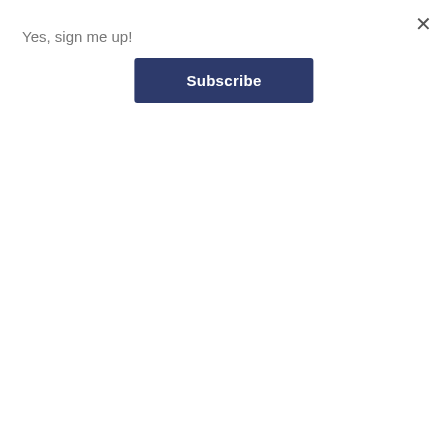Yes, sign me up!
×
Subscribe
[Figure (logo): Blue stylized figure of a child reaching upward with one arm, with a beige/tan curved shape in the background — logo for Children's Advocacy Center]
Janine Fortney, LSW and Program Director of The Children's Advocacy Center of Susquehanna and Wyoming Counties, supervises a team of trauma therapists